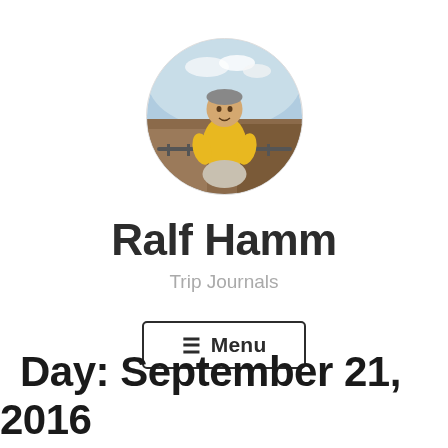[Figure (photo): Circular profile photo of a man in a yellow t-shirt outdoors at a canyon/scenic overlook]
Ralf Hamm
Trip Journals
☰ Menu
Day: September 21, 2016